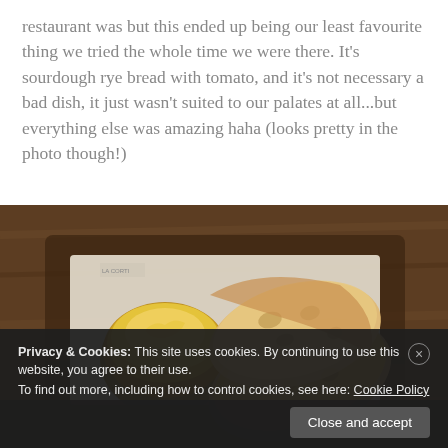restaurant was but this ended up being our least favourite thing we tried the whole time we were there. It's sourdough rye bread with tomato, and it's not necessary a bad dish, it just wasn't suited to our palates at all...but everything else was amazing haha (looks pretty in the photo though!)
[Figure (photo): Overhead photo of sourdough rye bread slices and a small pot of butter/spread on a wooden tray, placed on a wooden table]
Privacy & Cookies: This site uses cookies. By continuing to use this website, you agree to their use.
To find out more, including how to control cookies, see here: Cookie Policy
Close and accept